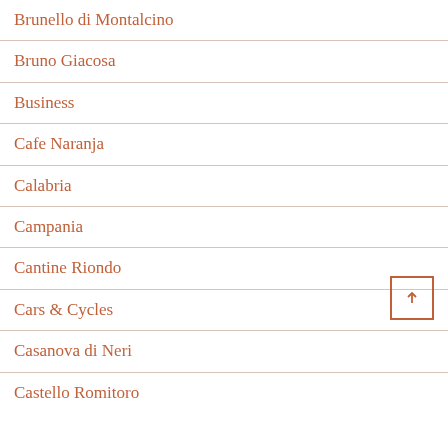Brunello di Montalcino
Bruno Giacosa
Business
Cafe Naranja
Calabria
Campania
Cantine Riondo
Cars & Cycles
Casanova di Neri
Castello Romitoro